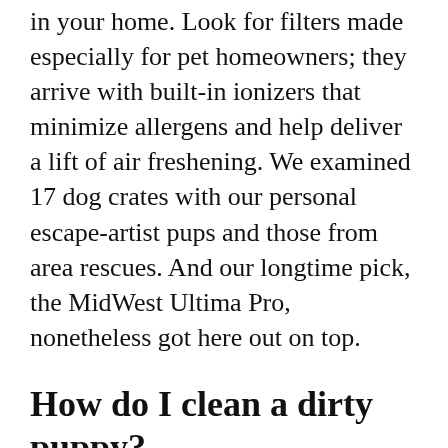in your home. Look for filters made especially for pet homeowners; they arrive with built-in ionizers that minimize allergens and help deliver a lift of air freshening. We examined 17 dog crates with our personal escape-artist pups and those from area rescues. And our longtime pick, the MidWest Ultima Pro, nonetheless got here out on top.
How do I clean a dirty puppy?
It is secure to provide your 8-week old pet a bath. If he isn't extremely dirty and just wants a mild wipe down, you'll